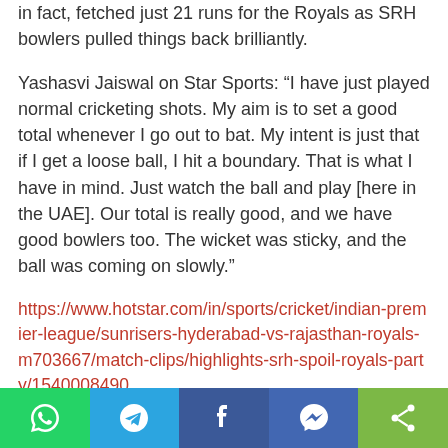in fact, fetched just 21 runs for the Royals as SRH bowlers pulled things back brilliantly.
Yashasvi Jaiswal on Star Sports: “I have just played normal cricketing shots. My aim is to set a good total whenever I go out to bat. My intent is just that if I get a loose ball, I hit a boundary. That is what I have in mind. Just watch the ball and play [here in the UAE]. Our total is really good, and we have good bowlers too. The wicket was sticky, and the ball was coming on slowly.”
https://www.hotstar.com/in/sports/cricket/indian-premier-league/sunrisers-hyderabad-vs-rajasthan-royals-m703667/match-clips/highlights-srh-spoil-royals-party/1540008490
[Figure (infographic): Social share bar with WhatsApp, Telegram, Facebook, Messenger, and generic share buttons]